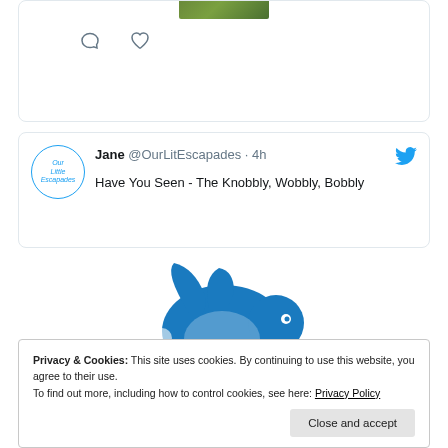[Figure (screenshot): Top of a social media card showing a thumbnail image strip and two icons (comment bubble and heart/like) below it]
[Figure (screenshot): Tweet card from Jane @OurLitEscapades posted 4h ago: 'Have You Seen - The Knobbly, Wobbly, Bobbly' with Our Little Escapades avatar and Twitter bird icon]
[Figure (logo): Jooble logo — blue jumping rabbit above the word 'jooble' where 'oo' letters are green]
Privacy & Cookies: This site uses cookies. By continuing to use this website, you agree to their use.
To find out more, including how to control cookies, see here: Privacy Policy
Close and accept